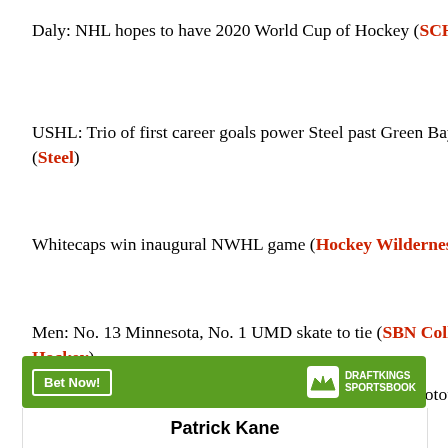Daly: NHL hopes to have 2020 World Cup of Hockey (SCH)
USHL: Trio of first career goals power Steel past Green Bay (Steel)
Whitecaps win inaugural NWHL game (Hockey Wilderness)
Men: No. 13 Minnesota, No. 1 UMD skate to tie (SBN College Hockey)
Women: No. 3 Minnesota ties in regulation, loses in shootout to No. 4 UMD (SBN College Hockey)
[Figure (other): DraftKings Sportsbook advertisement banner with 'Bet Now!' button and Patrick Kane player card]